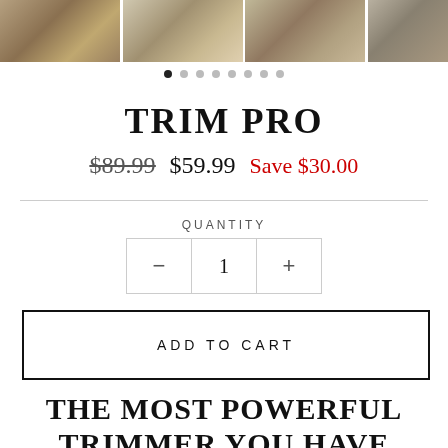[Figure (photo): Product image strip showing multiple views of the Trim Pro trimmer product]
[Figure (infographic): Carousel navigation dots, first dot filled/active, 8 dots total]
TRIM PRO
$89.99  $59.99  Save $30.00
QUANTITY
- 1 +
ADD TO CART
THE MOST POWERFUL TRIMMER YOU HAVE